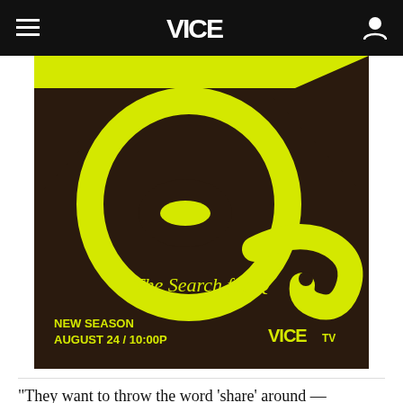VICE
[Figure (illustration): Promotional image for 'The Search for Q' new season on VICE TV, August 24 / 10:00P. Dark brown background with large neon yellow-green stylized Q and snake motif. Yellow-green diamond shape at top. Text reads 'The Search for Q', 'NEW SEASON', 'AUGUST 24 / 10:00P', and VICE TV logo.]
"They want to throw the word 'share' around —